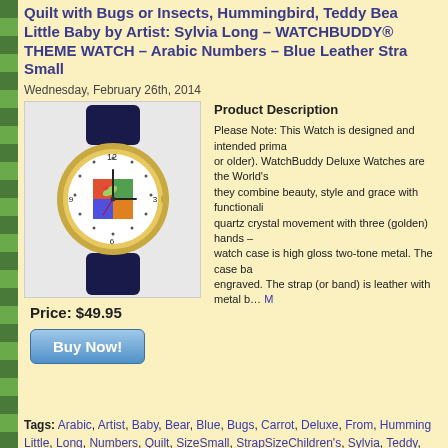Quilt with Bugs or Insects, Hummingbird, Teddy Bear, Little Baby by Artist: Sylvia Long – WATCHBUDDY® THEME WATCH – Arabic Numbers – Blue Leather Strap – Small
Wednesday, February 26th, 2014
[Figure (photo): A wristwatch with a dark blue leather strap and gold-tone case, featuring a clock face with Arabic numerals and a colorful quilt-themed dial.]
Product Description
Please Note: This Watch is designed and intended prima... or older). WatchBuddy Deluxe Watches are the World's they combine beauty, style and grace with functionali... quartz crystal movement with three (golden) hands – watch case is high gloss two-tone metal. The case ba... engraved. The strap (or band) is leather with metal b… M
Price: $49.95
Buy Now!
Tags: Arabic, Artist, Baby, Bear, Blue, Bugs, Carrot, Deluxe, From, Humming... Little, Long, Numbers, Quilt, SizeSmall, StrapSizeChildren's, Sylvia, Teddy, T... WATCHBUDDY®
Posted in Quilts for Kids | No Comments »